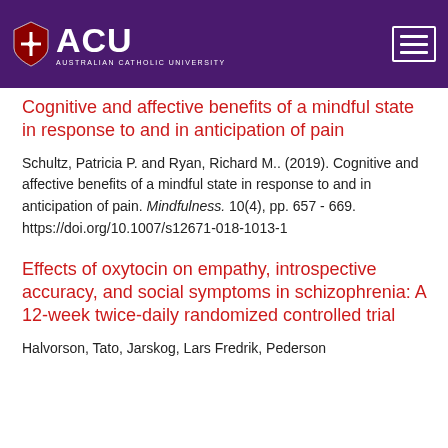[Figure (logo): Australian Catholic University (ACU) logo with shield icon and university name on purple header bar with hamburger menu button]
Cognitive and affective benefits of a mindful state in response to and in anticipation of pain
Schultz, Patricia P. and Ryan, Richard M.. (2019). Cognitive and affective benefits of a mindful state in response to and in anticipation of pain. Mindfulness. 10(4), pp. 657 - 669. https://doi.org/10.1007/s12671-018-1013-1
Effects of oxytocin on empathy, introspective accuracy, and social symptoms in schizophrenia: A 12-week twice-daily randomized controlled trial
Halvorson, Tato, Jarskog, Lars Fredrik, Pederson